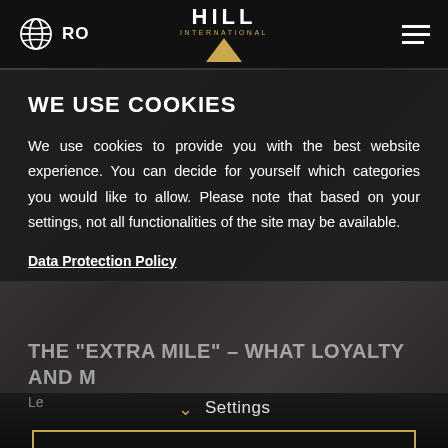RO   HILL INTERNATIONAL
WE USE COOKIES
We use cookies to provide you with the best website experience. You can decide for yourself which categories you would like to allow. Please note that based on your settings, not all functionalities of the site may be available.
Data Protection Policy
THE "EXTRA MILE" – WHAT LOYALTY AND M...
Le...
ACCEPT EVERYTHING
Settings